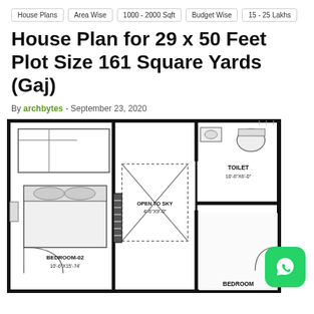House Plans | Area Wise | 1000 - 2000 Sqft | Budget Wise | 15 - 25 Lakhs
House Plan for 29 x 50 Feet Plot Size 161 Square Yards (Gaj)
By archbytes - September 23, 2020
[Figure (engineering-diagram): Floor plan drawing showing BEDROOM-02 (10'-6"x15'-74"), TOILET (10'-6"x6'-0"), OPEN TO SKY area (4'-6"x9'-0"), and partial BEDROOM view. The plan shows walls, doors, windows, a wardrobe, and bathroom fixtures in a house plan layout for 29x50 feet plot.]